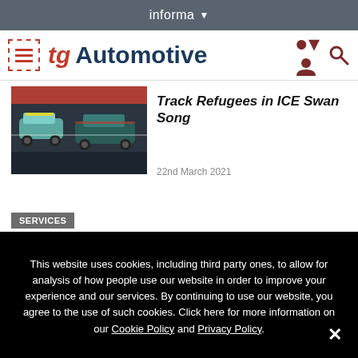informa ▼
[Figure (logo): TG Automotive logo with hamburger menu icon, person icon, and search icon]
[Figure (photo): Two sports cars on a race track, one teal/green Aston Martin and a safety car]
Track Refugees in ICE Swan Song
22nd March 2021
SERVICES
This website uses cookies, including third party ones, to allow for analysis of how people use our website in order to improve your experience and our services. By continuing to use our website, you agree to the use of such cookies. Click here for more information on our Cookie Policy and Privacy Policy.